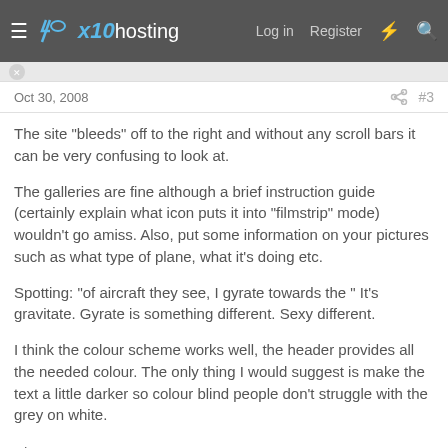x10hosting — Log in  Register
Oct 30, 2008  #3
The site "bleeds" off to the right and without any scroll bars it can be very confusing to look at.
The galleries are fine although a brief instruction guide (certainly explain what icon puts it into "filmstrip" mode) wouldn't go amiss. Also, put some information on your pictures such as what type of plane, what it's doing etc.
Spotting: "of aircraft they see, I gyrate towards the " It's gravitate. Gyrate is something different. Sexy different.
I think the colour scheme works well, the header provides all the needed colour. The only thing I would suggest is make the text a little darker so colour blind people don't struggle with the grey on white.
8/10